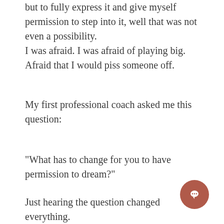but to fully express it and give myself permission to step into it, well that was not even a possibility. I was afraid. I was afraid of playing big. Afraid that I would piss someone off.
My first professional coach asked me this question:
“What has to change for you to have permission to dream?”
Just hearing the question changed everything.
Make no mistake, you will stay stuck